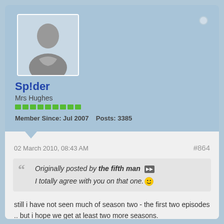[Figure (photo): Gray silhouette avatar placeholder image for forum user]
Sp!der
Mrs Hughes
Member Since: Jul 2007   Posts: 3385
02 March 2010, 08:43 AM   #864
Originally posted by the fifth man
I totally agree with you on that one.
still i have not seen much of season two - the first two episodes .. but i hope we get at least two more seasons.
sigpic